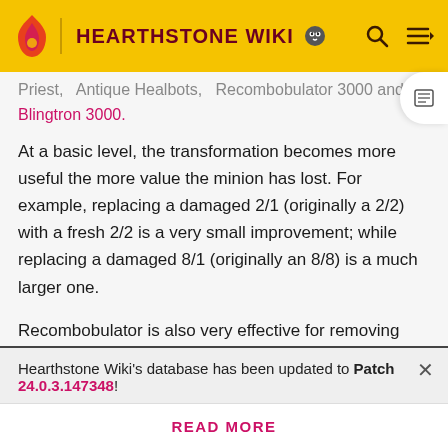HEARTHSTONE WIKI
Blingtron 3000.
At a basic level, the transformation becomes more useful the more value the minion has lost. For example, replacing a damaged 2/1 (originally a 2/2) with a fresh 2/2 is a very small improvement; while replacing a damaged 8/1 (originally an 8/8) is a much larger one.
Recombobulator is also very effective for removing silences and undesirable buffs. For example, it can be used to convert a minion affected by Corruption or
Hearthstone Wiki's database has been updated to Patch 24.0.3.147348!
READ MORE